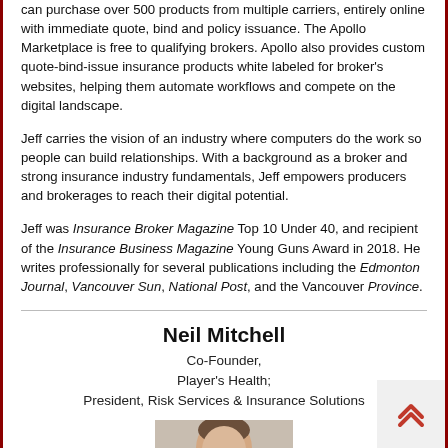can purchase over 500 products from multiple carriers, entirely online with immediate quote, bind and policy issuance. The Apollo Marketplace is free to qualifying brokers. Apollo also provides custom quote-bind-issue insurance products white labeled for broker's websites, helping them automate workflows and compete on the digital landscape.
Jeff carries the vision of an industry where computers do the work so people can build relationships. With a background as a broker and strong insurance industry fundamentals, Jeff empowers producers and brokerages to reach their digital potential.
Jeff was Insurance Broker Magazine Top 10 Under 40, and recipient of the Insurance Business Magazine Young Guns Award in 2018. He writes professionally for several publications including the Edmonton Journal, Vancouver Sun, National Post, and the Vancouver Province.
Neil Mitchell
Co-Founder, Player's Health; President, Risk Services & Insurance Solutions
[Figure (photo): Headshot photo of Neil Mitchell]